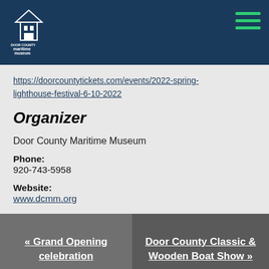Door County Maritime Museum
https://doorcountytickets.com/events/2022-spring-lighthouse-festival-6-10-2022
Organizer
Door County Maritime Museum
Phone:
920-743-5958
Website:
www.dcmm.org
« Grand Opening celebration
Door County Classic & Wooden Boat Show »